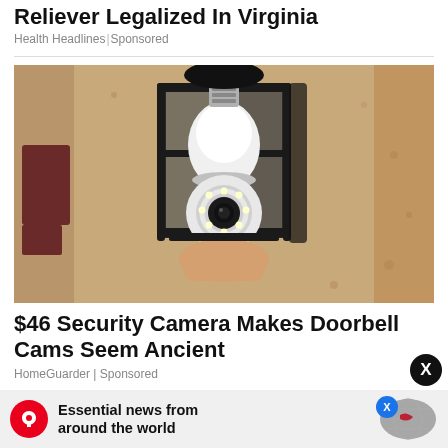Reliever Legalized In Virginia
Health Headlines | Sponsored
[Figure (photo): A security camera disguised as a light bulb installed inside a black outdoor lantern fixture mounted on a beige textured stucco wall. A hand is holding the bulb-shaped camera which has a circular ring of LED lights at the bottom.]
$46 Security Camera Makes Doorbell Cams Seem Ancient
HomeGuarder | Sponsored
[Figure (infographic): Advertisement banner: Essential news from around the world — with a red circular logo with a bird/Y icon on the left, and a globe graphic on the right, with an X close button.]